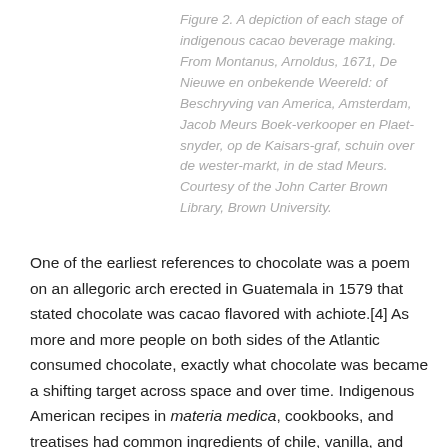Figure 2. A depiction of each stage of indigenous cacao beverage making. From Montanus, Arnoldus, 1671, De Nieuwe en onbekende Weereld: of Beschryving van America, Amsterdam, Jacob Meurs Boek-verkooper en Plaet-snyder, op de Kaisars-graf, schuin over de wester-markt, in de stad Meurs. Courtesy of the John Carter Brown Library, Brown University.
One of the earliest references to chocolate was a poem on an allegoric arch erected in Guatemala in 1579 that stated chocolate was cacao flavored with achiote.[4] As more and more people on both sides of the Atlantic consumed chocolate, exactly what chocolate was became a shifting target across space and over time. Indigenous American recipes in materia medica, cookbooks, and treatises had common ingredients of chile, vanilla, and achiote. Frequent European flavors were